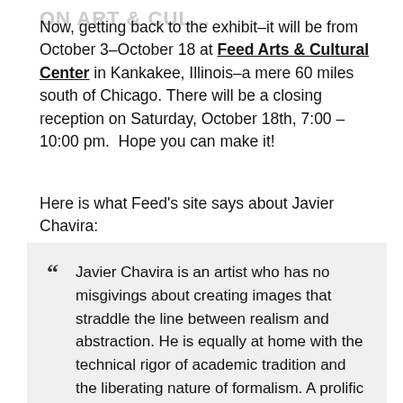Now, getting back to the exhibit–it will be from October 3–October 18 at Feed Arts & Cultural Center in Kankakee, Illinois–a mere 60 miles south of Chicago. There will be a closing reception on Saturday, October 18th, 7:00 – 10:00 pm.  Hope you can make it!
Here is what Feed's site says about Javier Chavira:
Javier Chavira is an artist who has no misgivings about creating images that straddle the line between realism and abstraction. He is equally at home with the technical rigor of academic tradition and the liberating nature of formalism. A prolific artist, his love of exhibiting locally and…